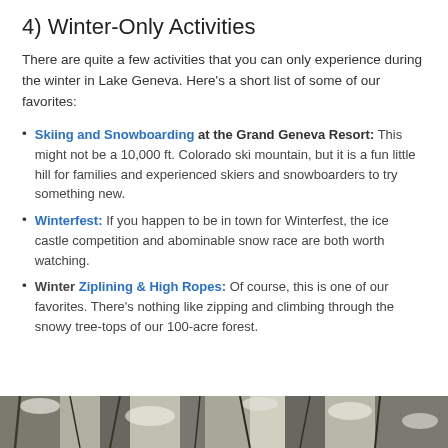4) Winter-Only Activities
There are quite a few activities that you can only experience during the winter in Lake Geneva. Here's a short list of some of our favorites:
Skiing and Snowboarding at the Grand Geneva Resort: This might not be a 10,000 ft. Colorado ski mountain, but it is a fun little hill for families and experienced skiers and snowboarders to try something new.
Winterfest: If you happen to be in town for Winterfest, the ice castle competition and abominable snow race are both worth watching.
Winter Ziplining & High Ropes: Of course, this is one of our favorites. There's nothing like zipping and climbing through the snowy tree-tops of our 100-acre forest.
[Figure (photo): Winter forest scene with snow-covered trees, black and white or muted tones]